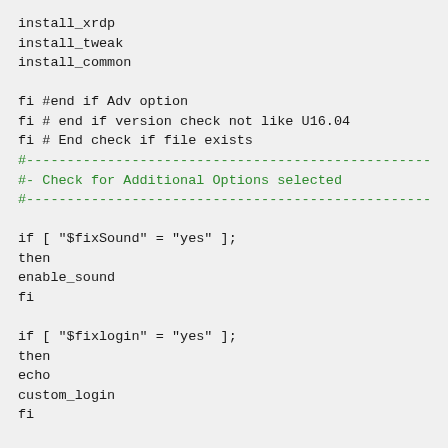install_xrdp
install_tweak
install_common

fi #end if Adv option
fi # end if version check not like U16.04
fi # End check if file exists
#--------------------------------------------------
#- Check for Additional Options selected
#--------------------------------------------------

if [ "$fixSound" = "yes" ];
then
enable_sound
fi

if [ "$fixlogin" = "yes" ];
then
echo
custom_login
fi

#--------------------------------------------------
# Create Check fil to see if script has run at